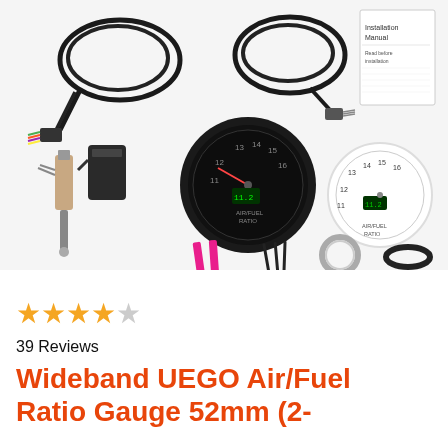[Figure (photo): Product photo showing Wideband UEGO Air/Fuel Ratio Gauge kit components: wiring harnesses, oxygen sensor, black gauge face, white gauge face, pink wire connectors, black wire pins, metal ring, rubber gasket, and instruction manual on white background.]
★★★★☆ 39 Reviews
Wideband UEGO Air/Fuel Ratio Gauge 52mm (2-